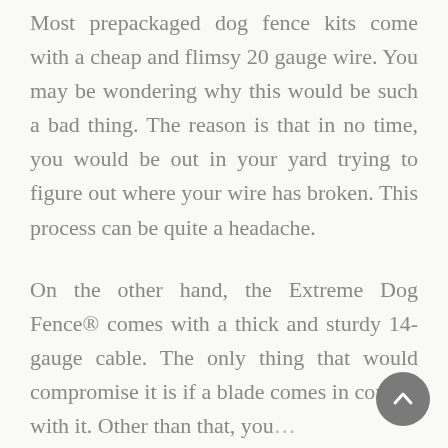Most prepackaged dog fence kits come with a cheap and flimsy 20 gauge wire. You may be wondering why this would be such a bad thing. The reason is that in no time, you would be out in your yard trying to figure out where your wire has broken. This process can be quite a headache.
On the other hand, the Extreme Dog Fence® comes with a thick and sturdy 14-gauge cable. The only thing that would compromise it is if a blade comes in contact with it. Other than that, you don't have to worry about the wire...